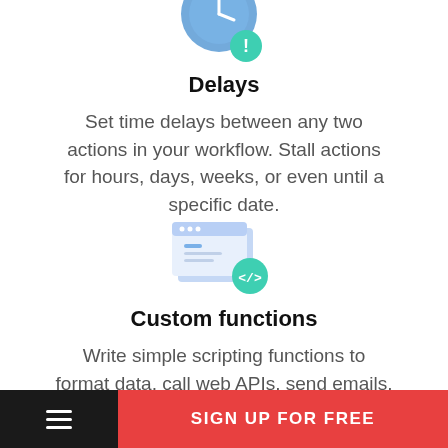[Figure (illustration): Clock icon with a teal exclamation mark badge, partially cropped at top of page]
Delays
Set time delays between any two actions in your workflow. Stall actions for hours, days, weeks, or even until a specific date.
[Figure (illustration): Browser/code window icon with a teal code badge showing </> symbol]
Custom functions
Write simple scripting functions to format data, call web APIs, send emails, and more.
SIGN UP FOR FREE